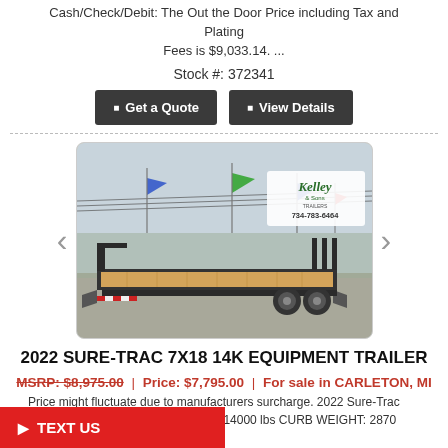Cash/Check/Debit: The Out the Door Price including Tax and Plating Fees is $9,033.14. ...
Stock #: 372341
Get a Quote  |  View Details (buttons)
[Figure (photo): Photo of a 2022 Sure-Trac 7x18 14K Equipment Trailer at Kelley Trailers lot, showing the flat wood deck, metal frame, dual axles, and ramps at the rear. Kelley Trailers logo and phone number 734-783-6464 visible in upper right. Blue and green flags visible in background.]
2022 SURE-TRAC 7X18 14K EQUIPMENT TRAILER
MSRP: $8,975.00 | Price: $7,795.00 | For sale in CARLETON, MI
Price might fluctuate due to manufacturers surcharge. 2022 Sure-Trac 7x18 14K Equipment Trailer GVWR: 14000 lbs CURB WEIGHT: 2870 ... e of $7795.00 is for Payment by
TEXT US